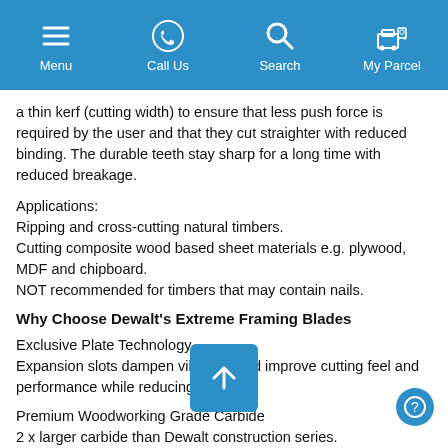Menu | Call Us | Search | My Parcel
a thin kerf (cutting width) to ensure that less push force is required by the user and that they cut straighter with reduced binding. The durable teeth stay sharp for a long time with reduced breakage.
Applications:
Ripping and cross-cutting natural timbers.
Cutting composite wood based sheet materials e.g. plywood, MDF and chipboard.
NOT recommended for timbers that may contain nails.
Why Choose Dewalt's Extreme Framing Blades
Exclusive Plate Technology
Expansion slots dampen vibration and improve cutting feel and performance while reducing noise.
Premium Woodworking Grade Carbide
2 x larger carbide than Dewalt construction series.
Proprietary Carbide